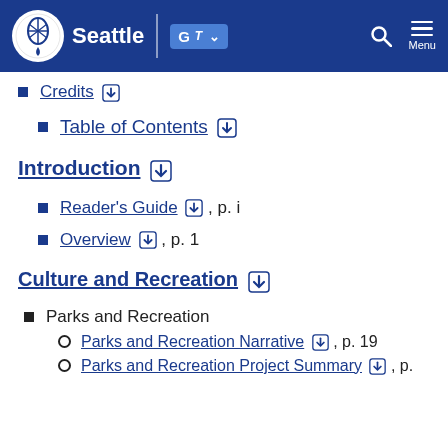Seattle — City of Seattle navigation header
Credits [download icon]
Table of Contents [download icon]
Introduction [download icon]
Reader's Guide [download icon], p. i
Overview [download icon], p. 1
Culture and Recreation [download icon]
Parks and Recreation
Parks and Recreation Narrative [download icon], p. 19
Parks and Recreation Project Summary [download icon], p.